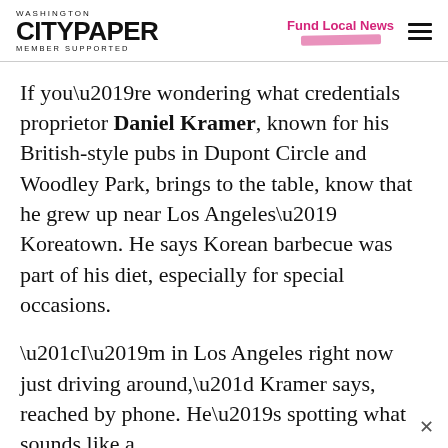WASHINGTON CITYPAPER MEMBER SUPPORTED | Fund Local News
If you’re wondering what credentials proprietor Daniel Kramer, known for his British-style pubs in Dupont Circle and Woodley Park, brings to the table, know that he grew up near Los Angeles’ Koreatown. He says Korean barbecue was part of his diet, especially for special occasions.
“I’m in Los Angeles right now just driving around,” Kramer says, reached by phone. He’s spotting what sounds like a